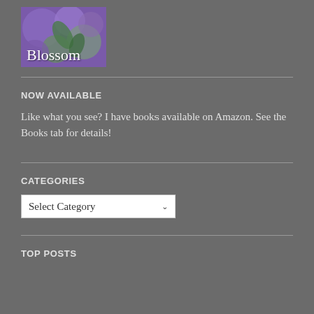[Figure (logo): Blossom blog logo with purple and green floral background and white text 'Blossom']
NOW AVAILABLE
Like what you see? I have books available on Amazon. See the Books tab for details!
CATEGORIES
Select Category
TOP POSTS